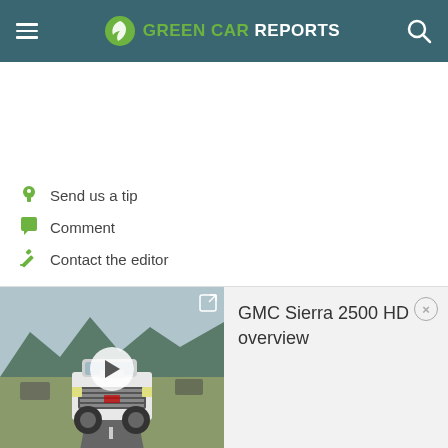GREEN CAR REPORTS
Send us a tip
Comment
Contact the editor
[Figure (screenshot): Video thumbnail showing a white GMC Sierra 2500 HD truck driving on a road with mountains in the background, with a play button overlay]
GMC Sierra 2500 HD overview